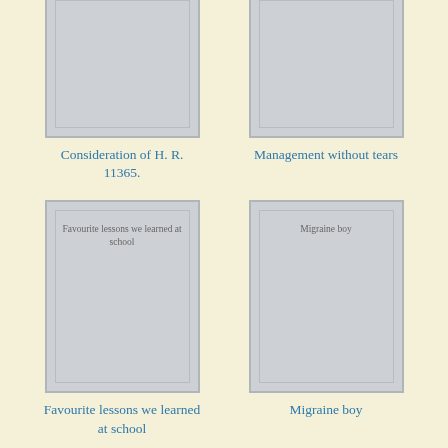[Figure (illustration): Book cover placeholder for 'Consideration of H. R. 11365.']
Consideration of H. R. 11365.
[Figure (illustration): Book cover placeholder for 'Management without tears']
Management without tears
[Figure (illustration): Book cover placeholder for 'Favourite lessons we learned at school']
Favourite lessons we learned at school
[Figure (illustration): Book cover placeholder for 'Migraine boy']
Migraine boy
[Figure (illustration): Partially visible book cover at bottom left]
[Figure (illustration): Partially visible book cover at bottom right]